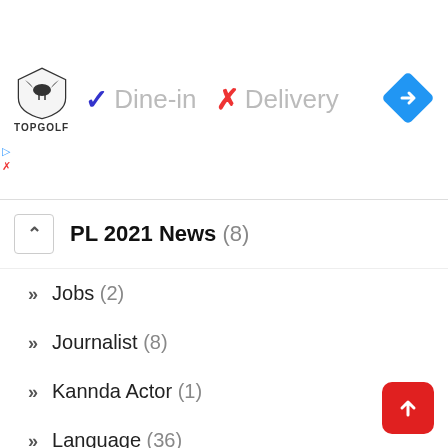[Figure (screenshot): Topgolf advertisement banner showing logo, checkmark with Dine-in, X with Delivery text, and a blue direction arrow icon]
PL 2021 News (8)
Jobs (2)
Journalist (8)
Kannda Actor (1)
Language (36)
Latest News (31)
latest News (119)
Lenovo (1)
Main Stories (271)
Model (1)